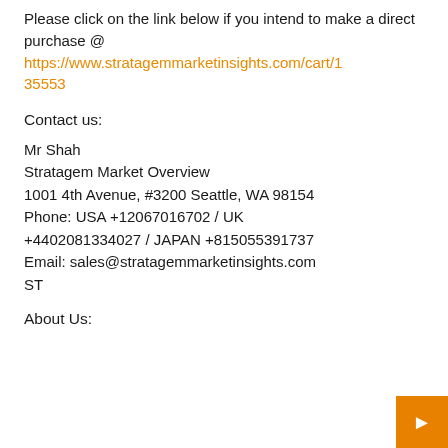Please click on the link below if you intend to make a direct purchase @ https://www.stratagemmarketinsights.com/cart/135553
Contact us:
Mr Shah
Stratagem Market Overview
1001 4th Avenue, #3200 Seattle, WA 98154
Phone: USA +12067016702 / UK +4402081334027 / JAPAN +815055391737
Email: sales@stratagemmarketinsights.com
ST
About Us: